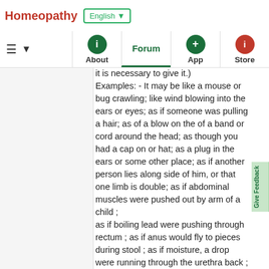Homeopathy | English ▼ | About | Forum | App | Store
it is necessary to give it.) Examples: - It may be like a mouse or bug crawling; like wind blowing into the ears or eyes; as if someone was pulling a hair; as of a blow on the of a band or cord around the head; as though you had a cap on or hat; as a plug in the ears or some other place; as if another person lies along side of him, or that one limb is double; as if abdominal muscles were pushed out by arm of a child ; as if boiling lead were pushing through rectum ; as if anus would fly to pieces during stool ; as if moisture, a drop were running through the urethra back ; as if the year was grasped by an iron hand ; as if claws were grasping the bowels; as of a splinter in the throat or flesh like a string of thread on the tongue or in the throat; as if joint were dislocated; as; as if legs were made of wood.
(Note: - These are merely illustrations, a few which have occurred to other person, and are given that you may understand what is meant by sensations. Always give the locations as well of the sensations.)